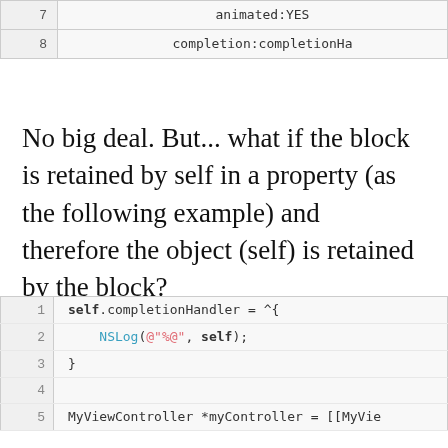| line | code |
| --- | --- |
| 7 | animated:YES |
| 8 | completion:completionHa |
No big deal. But... what if the block is retained by self in a property (as the following example) and therefore the object (self) is retained by the block?
| line | code |
| --- | --- |
| 1 | self.completionHandler = ^{ |
| 2 |     NSLog(@"%@", self); |
| 3 | } |
| 4 |  |
| 5 | MyViewController *myController = [[MyVie |